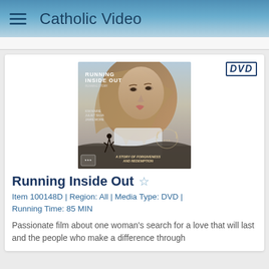Catholic Video
[Figure (photo): DVD movie poster for 'Running Inside Out' showing a young woman with flowing hair looking upward and a silhouette of a runner below]
Running Inside Out
Item 100148D | Region: All | Media Type: DVD | Running Time: 85 MIN
Passionate film about one woman's search for a love that will last and the people who make a difference through